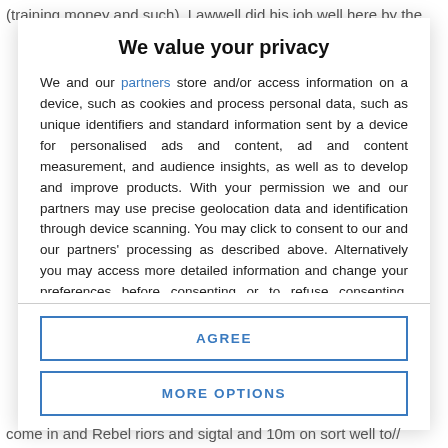(training money and such). Lawwell did his job well here by the
We value your privacy
We and our partners store and/or access information on a device, such as cookies and process personal data, such as unique identifiers and standard information sent by a device for personalised ads and content, ad and content measurement, and audience insights, as well as to develop and improve products. With your permission we and our partners may use precise geolocation data and identification through device scanning. You may click to consent to our and our partners' processing as described above. Alternatively you may access more detailed information and change your preferences before consenting or to refuse consenting. Please note that some processing of your personal data may not require your consent, but you have a right to
AGREE
MORE OPTIONS
come in and Rebel riors and sigtal and 10m on sort well to//